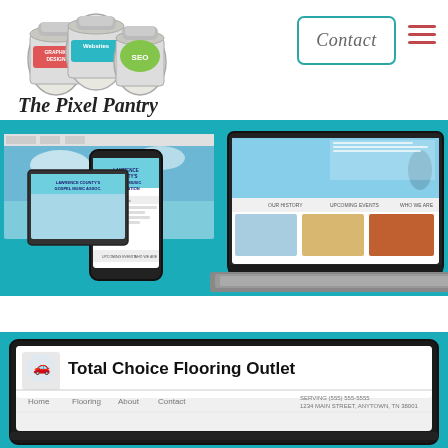[Figure (logo): The Pixel Pantry logo with mason jars labeled Websites, Graphic Design, SEO, and cursive text 'The Pixel Pantry']
[Figure (screenshot): Contact button with teal border and hamburger menu icon in top right area]
[Figure (screenshot): Website screenshot showing Lawrence County Gospel Music Association website displayed on a phone and laptop with teal background, sky images, and website sections]
[Figure (screenshot): Website screenshot showing Total Choice Flooring Outlet website on a laptop with black frame, teal background, showing logo and navigation menu with Home, Flooring, About, Contact]